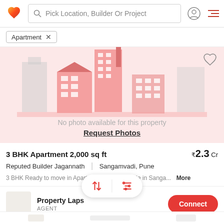[Figure (screenshot): Navigation bar with logo, search field 'Pick Location, Builder Or Project', user icon, and hamburger menu]
Apartment ×
[Figure (illustration): No photo available placeholder with pink building illustration, text 'No photo available for this property' and 'Request Photos' link]
3 BHK Apartment 2,000 sq ft
₹2.3 Cr
Reputed Builder Jagannath  |  Sangamvadi, Pune
3 BHK Ready to move in Apartments/Flats for Sale in Sanga...  More
Property Laps
AGENT
Connect